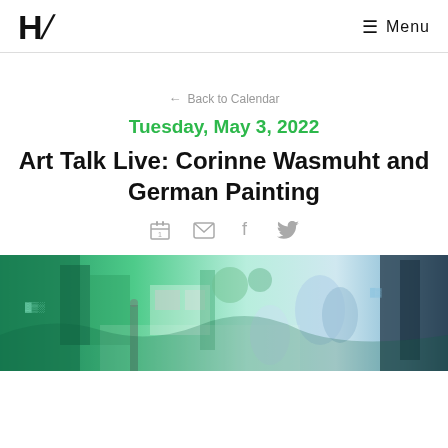H/ Menu
← Back to Calendar
Tuesday, May 3, 2022
Art Talk Live: Corinne Wasmuht and German Painting
[Figure (illustration): Row of social sharing icons: calendar, email, Facebook, Twitter]
[Figure (photo): A colorful painting depicting an urban street scene with green and blue tones, showing city life with overlapping figures and buildings]